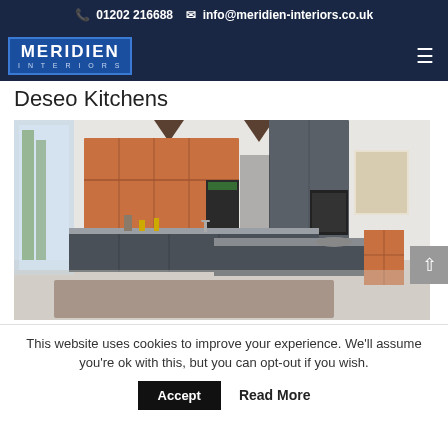📞 01202 216688   ✉ info@meridien-interiors.co.uk
[Figure (logo): Meridien Interiors logo - white text on blue background with border]
Deseo Kitchens
[Figure (photo): Modern kitchen showroom photo with dark grey handleless cabinets and copper/terracotta upper cabinets against a white wall with large windows]
This website uses cookies to improve your experience. We'll assume you're ok with this, but you can opt-out if you wish.
Accept   Read More